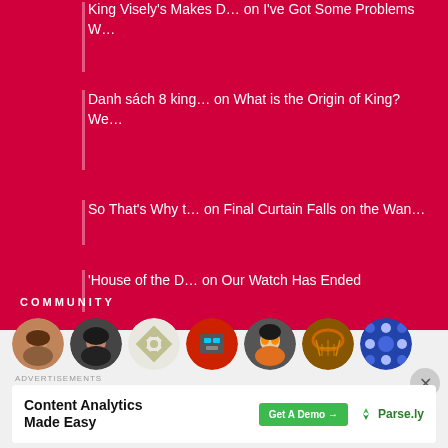King Visely's Makes D… on I've Got Some Problems W…
Danh sách 8 king… on What is the Origin of King? We…
So That's Why t… on Final Curtain Falls on the Wan…
'House of the D… on Our Watch Has Ended
COMMUNITY
[Figure (photo): Row of circular community member avatar photos]
Advertisements
[Figure (screenshot): Advertisement: Content Analytics Made Easy — Get A Demo → Parse.ly]